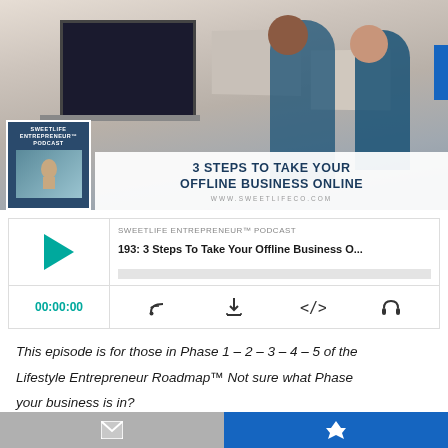[Figure (photo): Office scene with two women looking at a laptop/tablet, with TVs and computers in background. Overlay banner reads '3 STEPS TO TAKE YOUR OFFLINE BUSINESS ONLINE' with SweetLife Entrepreneur Podcast thumbnail and www.sweetlifeco.com URL.]
SWEETLIFE ENTREPRENEUR™ PODCAST
193: 3 Steps To Take Your Offline Business O...
00:00:00
This episode is for those in Phase 1 – 2 – 3 – 4 – 5 of the Lifestyle Entrepreneur Roadmap™ Not sure what Phase your business is in?